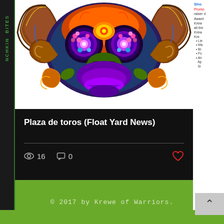[Figure (illustration): Colorful decorative bull skull artwork in Day of the Dead style with ornate patterns in orange, blue, green, purple and yellow on white background]
Plaza de toros (Float Yard News)
16  0
NCHKIN BITES
Sho
Promo
raiser d
Award
Krew
all tin
Krew
Kre
• Lie
• Ma
• Br
• Fo
• An
  Ap
  Si
© 2017 by Krewe of Warriors.